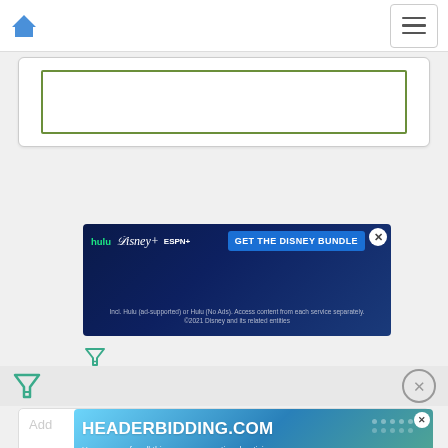[Figure (screenshot): Website navigation bar with blue home icon on the left and hamburger menu button on the right]
[Figure (screenshot): White card with olive/green bordered inner rectangle, partially visible at top of page]
[Figure (screenshot): Disney Bundle advertisement banner: hulu, Disney+, ESPN+ logos with 'GET THE DISNEY BUNDLE' call to action button. Fine print: 'Incl. Hulu (ad-supported) or Hulu (No Ads). Access content from each service separately. ©2021 Disney and its related entities']
[Figure (screenshot): Small green funnel/filter icon below the Disney ad]
[Figure (screenshot): Gray bar with large green funnel icon on left and gray circle-X close button on right]
[Figure (screenshot): HeaderBidding.com advertisement: 'HEADERBIDDING.COM - Your source for all things programmatic advertising.' on teal/blue gradient background with decorative dots]
[Figure (screenshot): White card at bottom showing 'Add...' in gray text and '» Upload a photo' link]